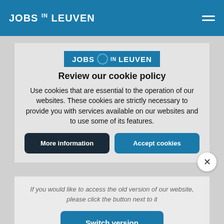JOBS IN LEUVEN
[Figure (logo): JOBS IN LEUVEN logo in blue header]
Review our cookie policy
Use cookies that are essential to the operation of our websites. These cookies are strictly necessary to provide you with services available on our websites and to use some of its features.
More information
Accept cookies
If you would like to access the old version of our website, please click the button next to it
Switch version